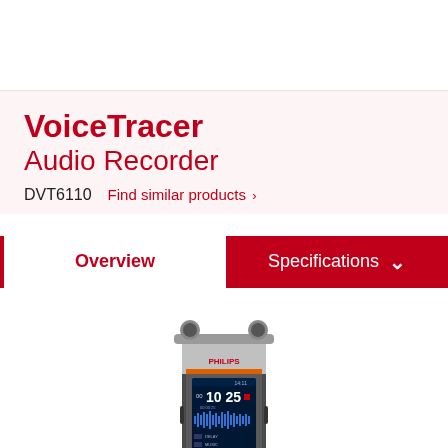VoiceTracer Audio Recorder
DVT6110   Find similar products ›
Overview
Specifications
[Figure (photo): Philips VoiceTracer DVT6110 audio recorder device, front view, showing silver and black body with PHILIPS branding and a blue display screen showing recording timer 00:10:25 and waveform]